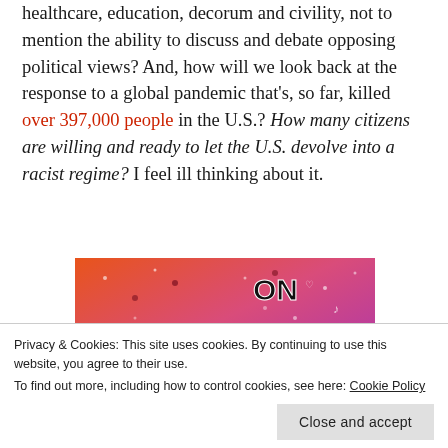healthcare, education, decorum and civility, not to mention the ability to discuss and debate opposing political views? And, how will we look back at the response to a global pandemic that's, so far, killed over 397,000 people in the U.S.? How many citizens are willing and ready to let the U.S. devolve into a racist regime? I feel ill thinking about it.
[Figure (screenshot): Tumblr logo banner image with colorful gradient background (orange to purple) with small white doodle icons scattered around, showing the word 'tumblr' in large black bold text and 'ON' partially visible at top right]
Privacy & Cookies: This site uses cookies. By continuing to use this website, you agree to their use.
To find out more, including how to control cookies, see here: Cookie Policy